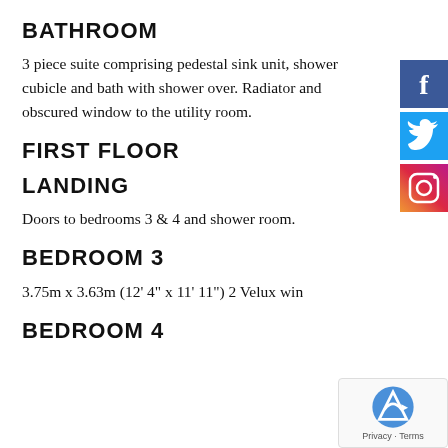BATHROOM
3 piece suite comprising pedestal sink unit, shower cubicle and bath with shower over. Radiator and obscured window to the utility room.
FIRST FLOOR
LANDING
Doors to bedrooms 3 & 4 and shower room.
BEDROOM 3
3.75m x 3.63m (12' 4" x 11' 11") 2 Velux win...
BEDROOM 4